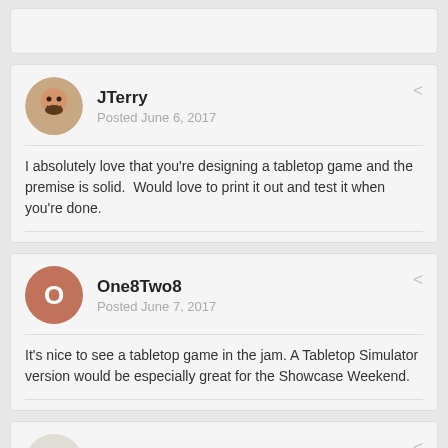JTerry
Posted June 6, 2017
I absolutely love that you're designing a tabletop game and the premise is solid.  Would love to print it out and test it when you're done.
One8Two8
Posted June 7, 2017
It's nice to see a tabletop game in the jam. A Tabletop Simulator version would be especially great for the Showcase Weekend.
Old News Belida
Posted June 7, 2017